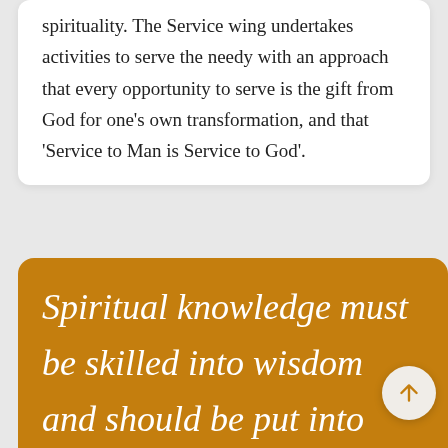spirituality. The Service wing undertakes activities to serve the needy with an approach that every opportunity to serve is the gift from God for one's own transformation, and that 'Service to Man is Service to God'.
Spiritual knowledge must be skilled into wisdom and should be put into practice in the form of service to humanity.